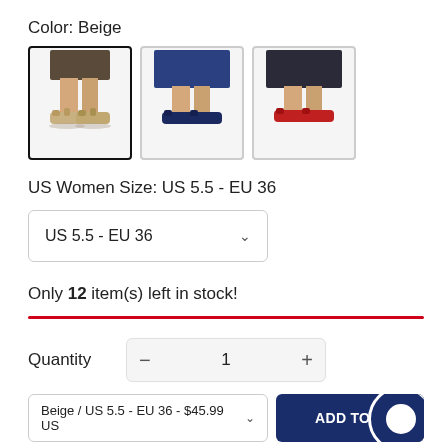Color: Beige
[Figure (photo): Three thumbnail images of women's sandals: beige (selected, with black border), navy/blue, and red colorways shown on feet with dark skirts/pants]
US Women Size: US 5.5 - EU 36
US 5.5 - EU 36 ∨
Only 12 item(s) left in stock!
Quantity  −  1  +
Beige / US 5.5 - EU 36 - $45.99 US∨
ADD TO C